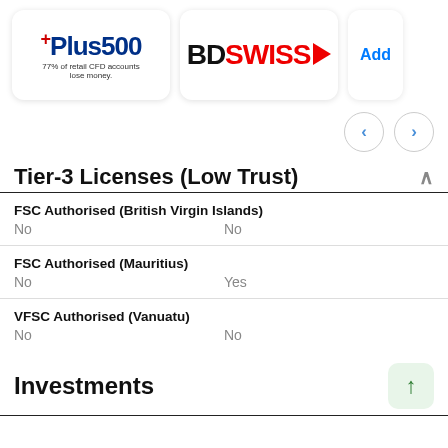[Figure (logo): Plus500 logo with text '77% of retail CFD accounts lose money.']
[Figure (logo): BDSwiss logo with red arrow/cross symbol]
[Figure (other): Partially visible 'Add' card on the right]
Tier-3 Licenses (Low Trust)
|  | Plus500 | BDSwiss |
| --- | --- | --- |
| FSC Authorised (British Virgin Islands) | No | No |
| FSC Authorised (Mauritius) | No | Yes |
| VFSC Authorised (Vanuatu) | No | No |
Investments